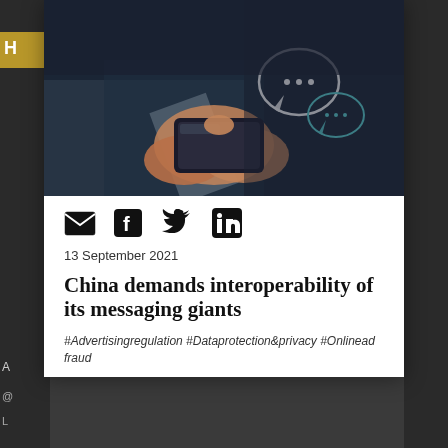[Figure (photo): Person holding a smartphone with chat bubble icons floating above, dark background]
Close
[Figure (infographic): Social share icons: email (envelope), Facebook, Twitter, LinkedIn]
13 September 2021
China demands interoperability of its messaging giants
#Advertisingregulation #Dataprotection&privacy #Onlinead fraud